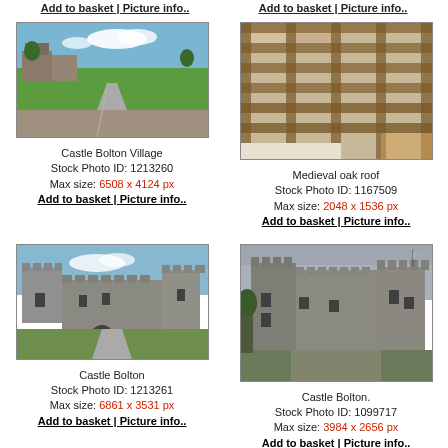Add to basket | Picture info..
Add to basket | Picture info..
[Figure (photo): Castle Bolton Village - outdoor photo showing stone buildings and green grass under blue sky]
Castle Bolton Village
Stock Photo ID: 1213260
Max size: 6508 x 4124 px
Add to basket | Picture info..
[Figure (photo): Medieval oak roof - close-up view of wooden beams forming a ceiling]
Medieval oak roof
Stock Photo ID: 1167509
Max size: 2048 x 1536 px
Add to basket | Picture info..
[Figure (photo): Castle Bolton - exterior view of medieval castle with towers and green lawn]
Castle Bolton
Stock Photo ID: 1213261
Max size: 6861 x 3531 px
Add to basket | Picture info..
[Figure (photo): Castle Bolton. - exterior view of stone castle against overcast sky]
Castle Bolton.
Stock Photo ID: 1099717
Max size: 3984 x 2656 px
Add to basket | Picture info..